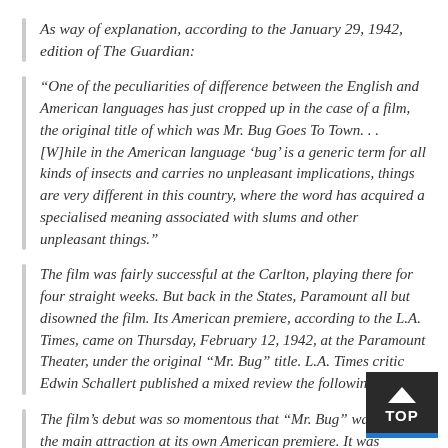As way of explanation, according to the January 29, 1942, edition of The Guardian:
“One of the peculiarities of difference between the English and American languages has just cropped up in the case of a film, the original title of which was Mr. Bug Goes To Town. . . [W]hile in the American language ‘bug’ is a generic term for all kinds of insects and carries no unpleasant implications, things are very different in this country, where the word has acquired a specialised meaning associated with slums and other unpleasant things.”
The film was fairly successful at the Carlton, playing there for four straight weeks. But back in the States, Paramount all but disowned the film. Its American premiere, according to the L.A. Times, came on Thursday, February 12, 1942, at the Paramount Theater, under the original “Mr. Bug” title. L.A. Times critic Edwin Schallert published a mixed review the following day.
The film’s debut was so momentous that “Mr. Bug” wasn’t even the main attraction at its own American premiere. It was